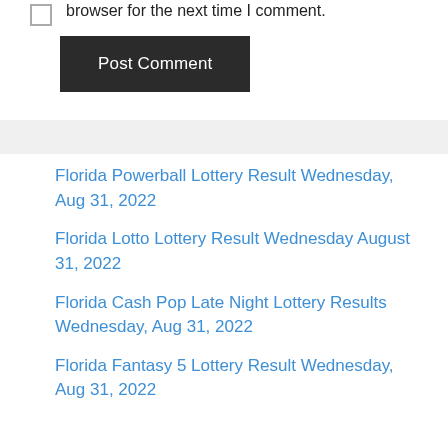browser for the next time I comment.
Post Comment
Florida Powerball Lottery Result Wednesday, Aug 31, 2022
Florida Lotto Lottery Result Wednesday August 31, 2022
Florida Cash Pop Late Night Lottery Results Wednesday, Aug 31, 2022
Florida Fantasy 5 Lottery Result Wednesday, Aug 31, 2022